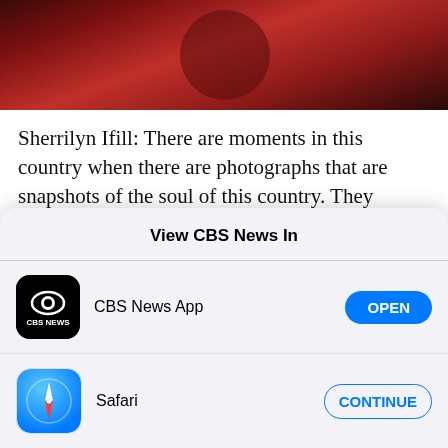[Figure (photo): Partial photo of a person wearing a red outfit, cropped at the top of the page]
Sherrilyn Ifill: There are moments in this country when there are photographs that are snapshots of the soul of this country. They almost hold up a mirror to this country. And when we see this picture of the nonchalance with which America will put its knee on the neck of black people and make itself deaf
View CBS News In
CBS News App
Safari